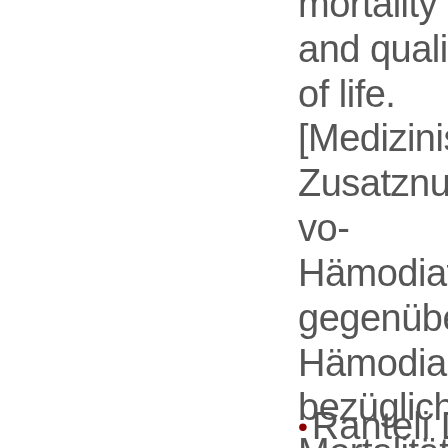mortality and quality of life. [Medizinischer Zusatznutzen von Hämodiafiltration gegenüber Hämodialyse bezüglich Mortalität und Lebensqualität]. Dtsch Med Wochenschr 140(11):e114-9.
Ranteli D, Wagn...